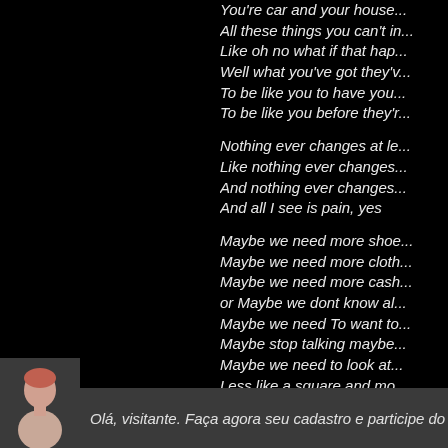You're car and your house...
All these things you can't im...
Like oh no what if that hap...
Well what you've got they'v...
To be like you to have you...
To be like you before they'r...

Nothing ever changes at le...
Like nothing ever changes...
And nothing ever changes...
And all I see is pain, yes

Maybe we need more shoe...
Maybe we need more cloth...
Maybe we need more cash...
or Maybe we dont know al...
Maybe we need To want to...
Maybe stop talking maybe...
Maybe we need to look at...
Less like a square and mo...
Maybe just maybe God's n...
Maybe were all his kids an...
Olá, visitante. Faça agora seu cadastro e participe do